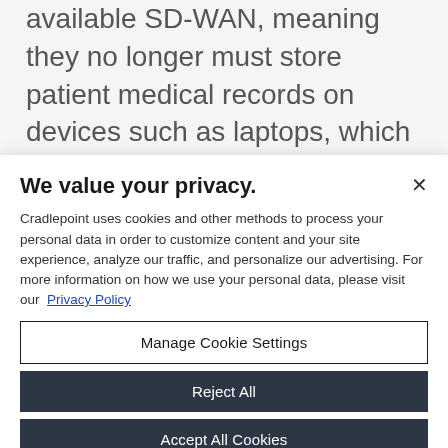available SD-WAN, meaning they no longer must store patient medical records on devices such as laptops, which present significant security risks if lost or stolen. Instead, healthcare organizations can store patient records in the
We value your privacy.
Cradlepoint uses cookies and other methods to process your personal data in order to customize content and your site experience, analyze our traffic, and personalize our advertising. For more information on how we use your personal data, please visit our Privacy Policy
Manage Cookie Settings
Reject All
Accept All Cookies